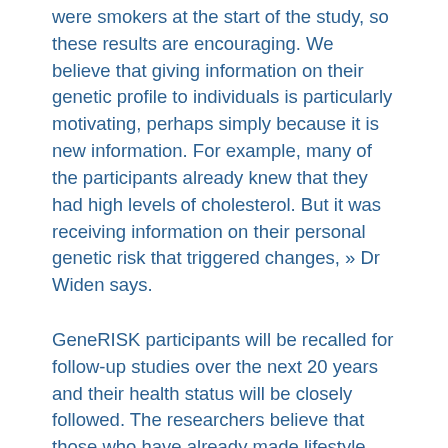were smokers at the start of the study, so these results are encouraging. We believe that giving information on their genetic profile to individuals is particularly motivating, perhaps simply because it is new information. For example, many of the participants already knew that they had high levels of cholesterol. But it was receiving information on their personal genetic risk that triggered changes, » Dr Widen says.
GeneRISK participants will be recalled for follow-up studies over the next 20 years and their health status will be closely followed. The researchers believe that those who have already made lifestyle changes are likely to continue them. « Since they have managed to maintain these changes for 1.5 years, we expect them to persist, » says Dr Widen.
The general trend towards patient participation is particularly important in disease prevention, say the researchers. Empowering individuals by giving information on their personal risk of disease, as opposed to something more generalised, is clearly effective in encouraging them to follow